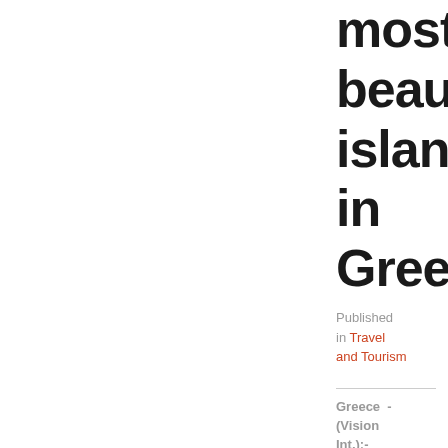most beautiful islands in Greece
Published in Travel and Tourism
Greece - (Vision Int,):- Greece is one of the